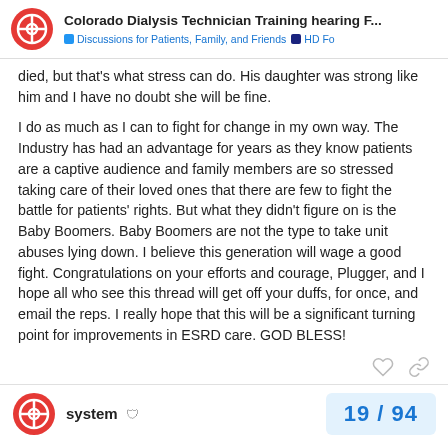Colorado Dialysis Technician Training hearing F... | Discussions for Patients, Family, and Friends | HD Fo
died, but that's what stress can do. His daughter was strong like him and I have no doubt she will be fine.
I do as much as I can to fight for change in my own way. The Industry has had an advantage for years as they know patients are a captive audience and family members are so stressed taking care of their loved ones that there are few to fight the battle for patients' rights. But what they didn't figure on is the Baby Boomers. Baby Boomers are not the type to take unit abuses lying down. I believe this generation will wage a good fight. Congratulations on your efforts and courage, Plugger, and I hope all who see this thread will get off your duffs, for once, and email the reps. I really hope that this will be a significant turning point for improvements in ESRD care. GOD BLESS!
system  19 / 94